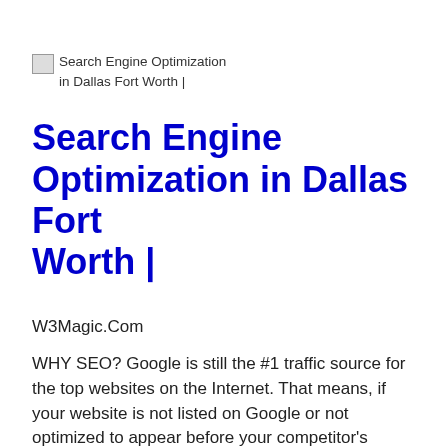[Figure (other): Broken image placeholder with alt text: Search Engine Optimization in Dallas Fort Worth |]
Search Engine Optimization in Dallas Fort Worth |
W3Magic.Com
WHY SEO? Google is still the #1 traffic source for the top websites on the Internet. That means, if your website is not listed on Google or not optimized to appear before your competitor's websites on Google searches, then you are not only losing traffic, but you are losing potential customers! Besides Google, other major Read More...